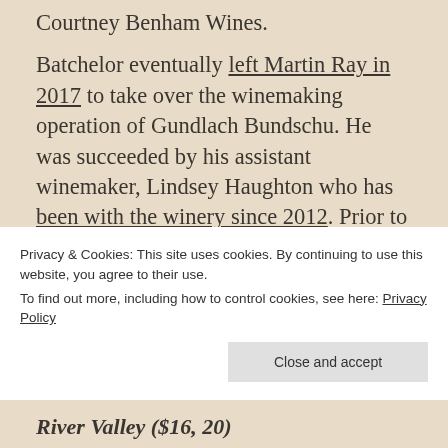Courtney Benham Wines.
Batchelor eventually left Martin Ray in 2017 to take over the winemaking operation of Gundlach Bundschu. He was succeeded by his assistant winemaker, Lindsey Haughton who has been with the winery since 2012. Prior to joining Martin Ray, Haughton worked harvest at Heitz Cellars in Napa and studied at Fresno State University. While at school, she worked at Engelmann Cellars
Privacy & Cookies: This site uses cookies. By continuing to use this website, you agree to their use.
To find out more, including how to control cookies, see here: Privacy Policy
River Valley ($16, 20)